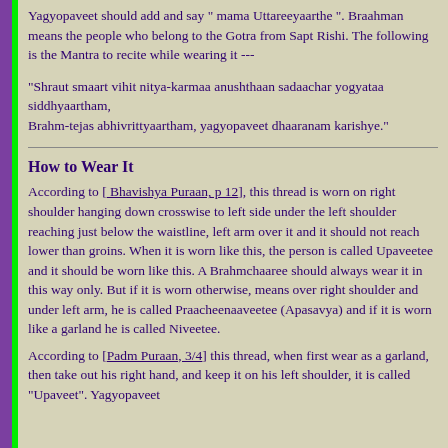Yagyopaveet should add and say " mama Uttareeyaarthe ". Braahman means the people who belong to the Gotra from Sapt Rishi. The following is the Mantra to recite while wearing it ---
"Shraut smaart vihit nitya-karmaa anushthaan sadaachar yogyataa siddhyaartham,
Brahm-tejas abhivrittyaartham, yagyopaveet dhaaranam karishye."
How to Wear It
According to [ Bhavishya Puraan, p 12], this thread is worn on right shoulder hanging down crosswise to left side under the left shoulder reaching just below the waistline, left arm over it and it should not reach lower than groins. When it is worn like this, the person is called Upaveetee and it should be worn like this. A Brahmchaaree should always wear it in this way only. But if it is worn otherwise, means over right shoulder and under left arm, he is called Praacheenaaveetee (Apasavya) and if it is worn like a garland he is called Niveetee.
According to [Padm Puraan, 3/4] this thread, when first wear as a garland, then take out his right hand, and keep it on his left shoulder, it is called "Upaveet". Yagyopaveet